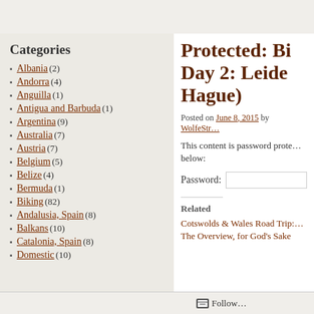Categories
Albania (2)
Andorra (4)
Anguilla (1)
Antigua and Barbuda (1)
Argentina (9)
Australia (7)
Austria (7)
Belgium (5)
Belize (4)
Bermuda (1)
Biking (82)
Andalusia, Spain (8)
Balkans (10)
Catalonia, Spain (8)
Domestic (10)
Protected: Biking Day 2: Leiden... Hague)
Posted on June 8, 2015 by WolfeStr...
This content is password protected. To view it please enter your password below:
Password:
Related
Cotswolds & Wales Road Trip:...
The Overview, for God's Sake